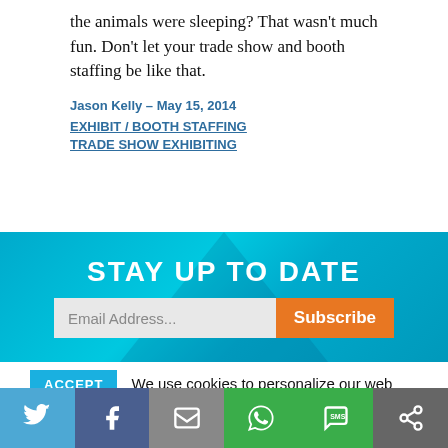the animals were sleeping? That wasn't much fun. Don't let your trade show and booth staffing be like that.
Jason Kelly – May 15, 2014
EXHIBIT / BOOTH STAFFING
TRADE SHOW EXHIBITING
[Figure (infographic): Blue 'Stay Up To Date' email subscription banner with email address input field and orange Subscribe button]
ACCEPT  We use cookies to personalize our web content and analyze our traffic. We share this information with Skyline dealers who may combine it with information you provided them
[Figure (infographic): Social sharing bar with Twitter, Facebook, email, WhatsApp, SMS, and share icons]